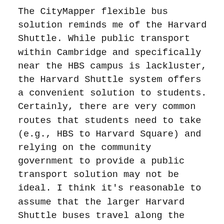The CityMapper flexible bus solution reminds me of the Harvard Shuttle. While public transport within Cambridge and specifically near the HBS campus is lackluster, the Harvard Shuttle system offers a convenient solution to students. Certainly, there are very common routes that students need to take (e.g., HBS to Harvard Square) and relying on the community government to provide a public transport solution may not be ideal. I think it's reasonable to assume that the larger Harvard Shuttle buses travel along the most common routes while solutions such as the Harvard Evening Van allow students to specify their (more unique) routes when the larger buses are no longer running. Perhaps Evening Van routes taken most commonly then evolve into larger bus routes. In a similar vein, I think there would be tremendous value in community